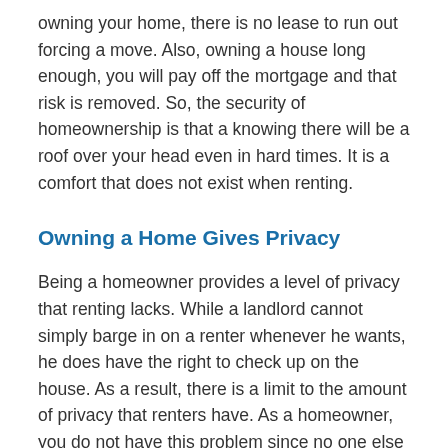owning your home, there is no lease to run out forcing a move. Also, owning a house long enough, you will pay off the mortgage and that risk is removed. So, the security of homeownership is that a knowing there will be a roof over your head even in hard times. It is a comfort that does not exist when renting.
Owning a Home Gives Privacy
Being a homeowner provides a level of privacy that renting lacks. While a landlord cannot simply barge in on a renter whenever he wants, he does have the right to check up on the house. As a result, there is a limit to the amount of privacy that renters have. As a homeowner, you do not have this problem since no one else has a right to be on the property.